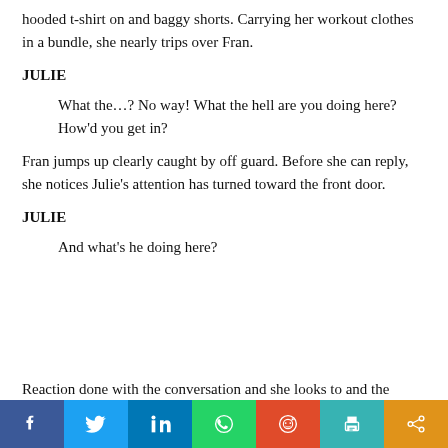hooded t-shirt on and baggy shorts. Carrying her workout clothes in a bundle, she nearly trips over Fran.
JULIE
What the…? No way! What the hell are you doing here? How'd you get in?
Fran jumps up clearly caught by off guard. Before she can reply, she notices Julie's attention has turned toward the front door.
JULIE
And what's he doing here?
Reaction done with the conversation and she looks to and the
[Figure (infographic): Social media share bar with icons for Facebook, Twitter, LinkedIn, WhatsApp, Reddit, Print, and Share]